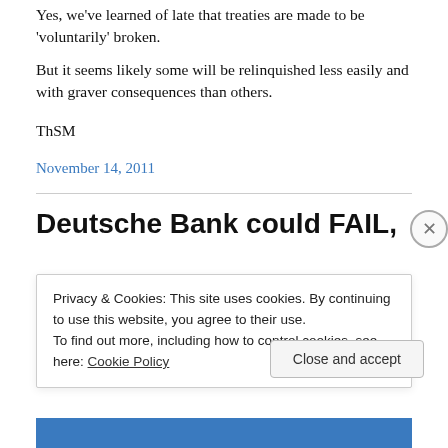Yes, we've learned of late that treaties are made to be 'voluntarily' broken.
But it seems likely some will be relinquished less easily and with graver consequences than others.
ThSM
November 14, 2011
Deutsche Bank could FAIL,
Privacy & Cookies: This site uses cookies. By continuing to use this website, you agree to their use.
To find out more, including how to control cookies, see here: Cookie Policy
Close and accept